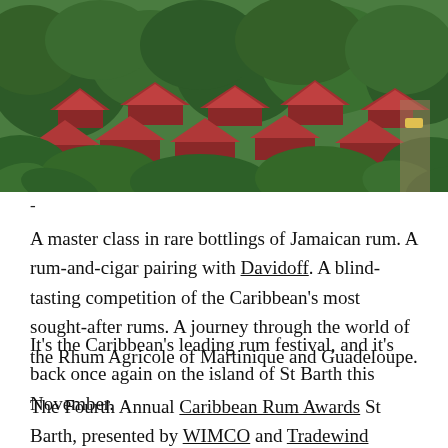[Figure (photo): Aerial view of Caribbean neighborhood with red-tiled rooftops surrounded by lush tropical greenery and trees.]
-
A master class in rare bottlings of Jamaican rum. A rum-and-cigar pairing with Davidoff. A blind-tasting competition of the Caribbean's most sought-after rums. A journey through the world of the Rhum Agricole of Martinique and Guadeloupe.
It's the Caribbean's leading rum festival, and it's back once again on the island of St Barth this November.
The Fourth Annual Caribbean Rum Awards St Barth, presented by WIMCO and Tradewind Aviation, are set for